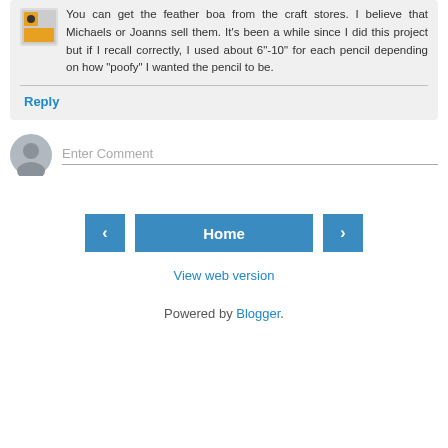You can get the feather boa from the craft stores. I believe that Michaels or Joanns sell them. It's been a while since I did this project but if I recall correctly, I used about 6"-10" for each pencil depending on how "poofy" I wanted the pencil to be.
Reply
Enter Comment
Home
View web version
Powered by Blogger.